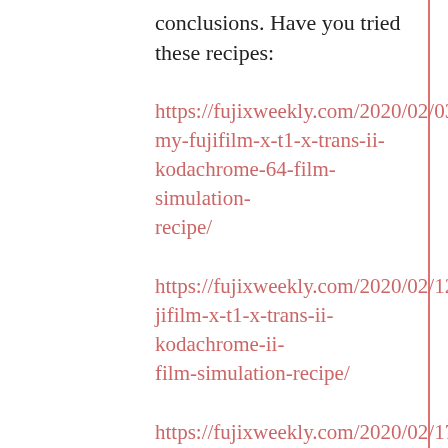conclusions. Have you tried these recipes:
https://fujixweekly.com/2020/02/03/my-fujifilm-x-t1-x-trans-ii-kodachrome-64-film-simulation-recipe/
https://fujixweekly.com/2020/02/12/fujifilm-x-t1-x-trans-ii-kodachrome-ii-film-simulation-recipe/
https://fujixweekly.com/2020/02/17/fujifilm-x-t1-x-trans-ii-ektachrome-100sw-film-simulation-recipe/